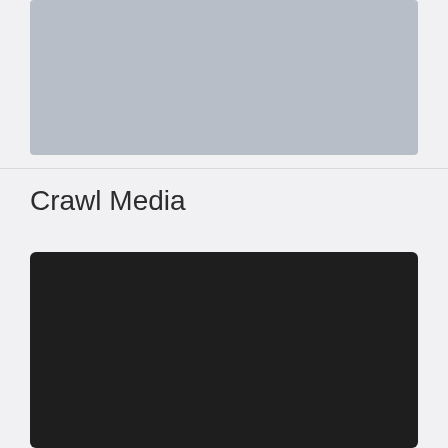[Figure (photo): Light gray placeholder image rectangle at the top of the page]
Crawl Media
[Figure (photo): Dark/black media content area below the Crawl Media heading]